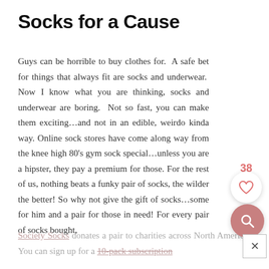Socks for a Cause
Guys can be horrible to buy clothes for. A safe bet for things that always fit are socks and underwear. Now I know what you are thinking, socks and underwear are boring. Not so fast, you can make them exciting…and not in an edible, weirdo kinda way. Online sock stores have come along way from the knee high 80's gym sock special…unless you are a hipster, they pay a premium for those. For the rest of us, nothing beats a funky pair of socks, the wilder the better! So why not give the gift of socks…some for him and a pair for those in need! For every pair of socks bought,
Society Socks donates a pair to charities across North America! You can sign up for a 10-pack subscription